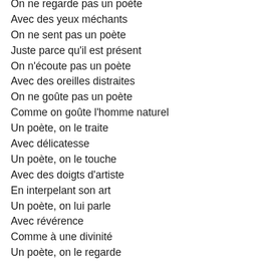On ne regarde pas un poète
Avec des yeux méchants
On ne sent pas un poète
Juste parce qu'il est présent
On n'écoute pas un poète
Avec des oreilles distraites
On ne goûte pas un poète
Comme on goûte l'homme naturel
Un poète, on le traite
Avec délicatesse
Un poète, on le touche
Avec des doigts d'artiste
En interpelant son art
Un poète, on lui parle
Avec révérence
Comme à une divinité
Un poète, on le regarde